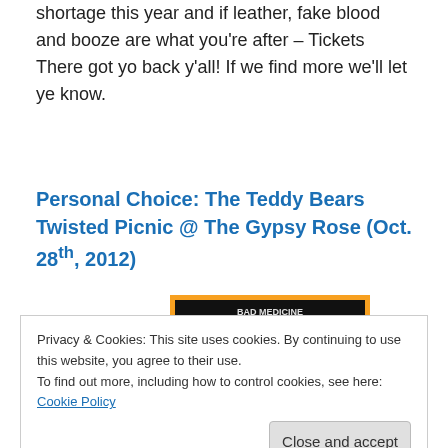shortage this year and if leather, fake blood and booze are what you're after – Tickets There got yo back y'all! If we find more we'll let ye know.
Personal Choice: The Teddy Bears Twisted Picnic @ The Gypsy Rose (Oct. 28th, 2012)
[Figure (photo): Event poster for The Teddy Bears Twisted Picnic featuring cartoon bear faces on a dark background with orange border and event details at the bottom.]
Privacy & Cookies: This site uses cookies. By continuing to use this website, you agree to their use.
To find out more, including how to control cookies, see here: Cookie Policy
Close and accept
while night of fancy dress, drink promotions and classic